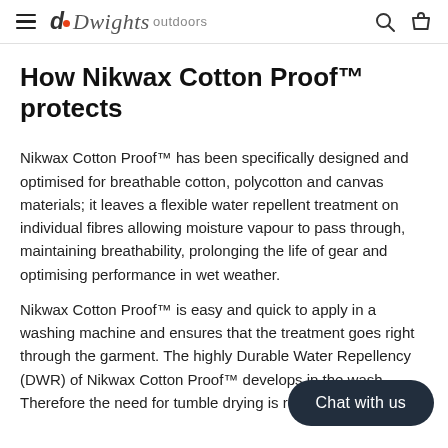Dwights outdoors
How Nikwax Cotton Proof™ protects
Nikwax Cotton Proof™ has been specifically designed and optimised for breathable cotton, polycotton and canvas materials; it leaves a flexible water repellent treatment on individual fibres allowing moisture vapour to pass through, maintaining breathability, prolonging the life of gear and optimising performance in wet weather.
Nikwax Cotton Proof™ is easy and quick to apply in a washing machine and ensures that the treatment goes right through the garment. The highly Durable Water Repellency (DWR) of Nikwax Cotton Proof™ develops in the wash. Therefore the need for tumble drying is removed, saving